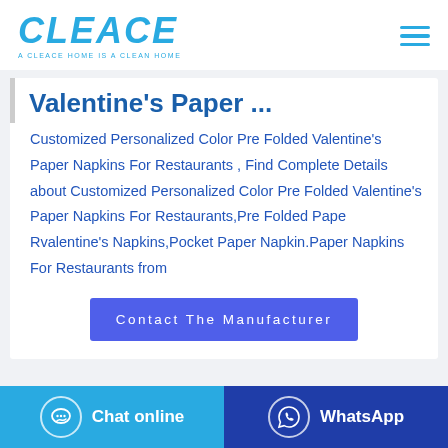CLEACE — A CLEACE HOME IS A CLEAN HOME
Valentine's Paper ...
Customized Personalized Color Pre Folded Valentine's Paper Napkins For Restaurants , Find Complete Details about Customized Personalized Color Pre Folded Valentine's Paper Napkins For Restaurants,Pre Folded Pape Rvalentine's Napkins,Pocket Paper Napkin.Paper Napkins For Restaurants from
Contact The Manufacturer
Chat online
WhatsApp